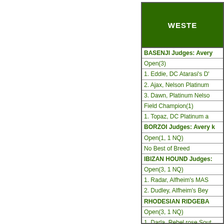WESTE
| BASENJI Judges: Avery |
| Open(3) |
| 1. Eddie, DC Atarasi's D' |
| 2. Ajax, Nelson Platinum |
| 3. Dawn, Platinum Nelso |
| Field Champion(1) |
| 1. Topaz, DC Platinum a |
| BORZOI Judges: Avery k |
| Open(1, 1 NQ) |
| No Best of Breed |
| IBIZAN HOUND Judges: |
| Open(3, 1 NQ) |
| 1. Radar, Alfheim's MAS |
| 2. Dudley, Alfheim's Bey |
| RHODESIAN RIDGEBA |
| Open(3, 1 NQ) |
| 1. Darla, Rebel rose Sout |
| 2. Rascal, JesmystersFla |